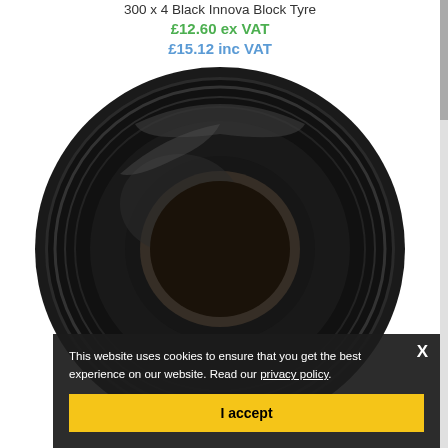300 x 4 Black Innova Block Tyre
£12.60 ex VAT
£15.12 inc VAT
[Figure (photo): Black Innova Block Tyre shown from a front-facing angle, displaying the tread pattern and sidewall markings on a white background.]
This website uses cookies to ensure that you get the best experience on our website. Read our privacy policy.
I accept